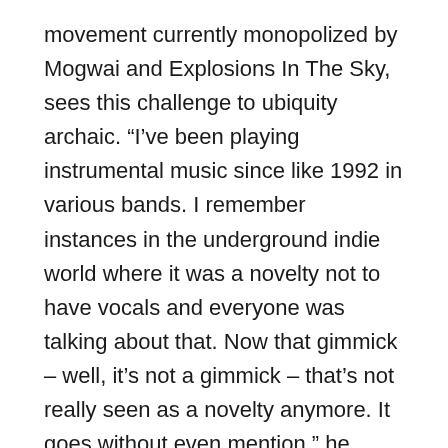movement currently monopolized by Mogwai and Explosions In The Sky, sees this challenge to ubiquity archaic. “I’ve been playing instrumental music since like 1992 in various bands. I remember instances in the underground indie world where it was a novelty not to have vocals and everyone was talking about that. Now that gimmick – well, it’s not a gimmick – that’s not really seen as a novelty anymore. It goes without even mention,” he says. “I don’t know if it’s shocking just within the bubble of underground indie… but… â€™s more like if